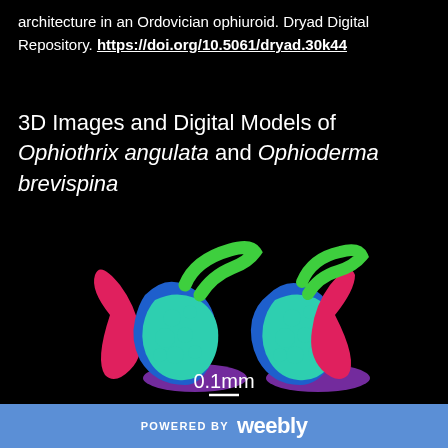architecture in an Ordovician ophiuroid. Dryad Digital Repository. https://doi.org/10.5061/dryad.30k44
3D Images and Digital Models of Ophiothrix angulata and Ophioderma brevispina
[Figure (photo): 3D rendered digital models of ophiuroid jaw structures shown from two angles, colored in teal/green, blue, pink/magenta, purple, and green, with a 0.1mm scale bar, on black background.]
POWERED BY weebly